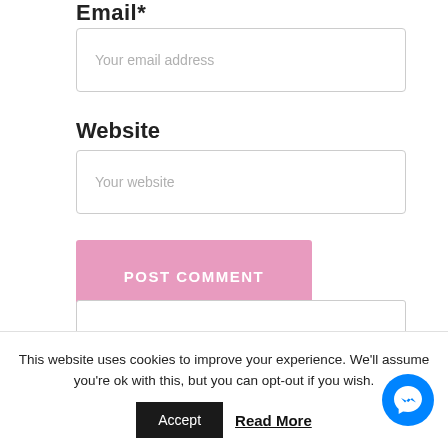Email*
Your email address
Website
Your website
POST COMMENT
Other Videos
This website uses cookies to improve your experience. We'll assume you're ok with this, but you can opt-out if you wish.
Accept
Read More